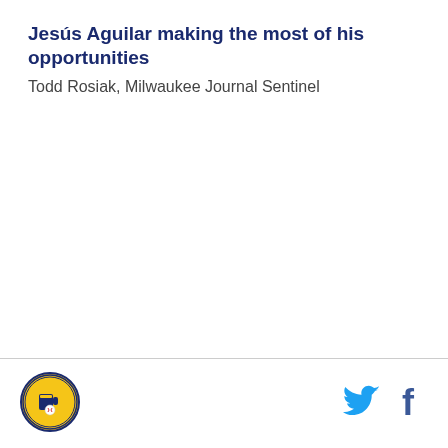Jesús Aguilar making the most of his opportunities
Todd Rosiak, Milwaukee Journal Sentinel
[Figure (logo): Milwaukee Brewers circular logo with beer mug and baseball motif, gold and navy colors]
[Figure (logo): Twitter bird icon in light blue]
[Figure (logo): Facebook 'f' icon in dark blue]